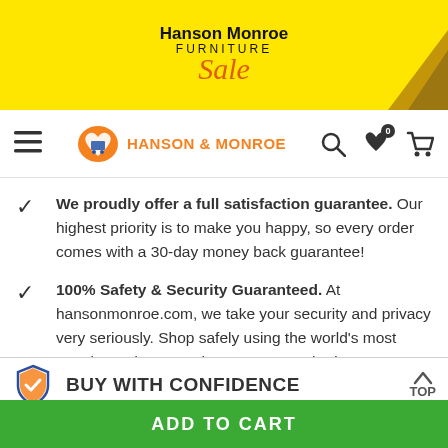[Figure (logo): Hanson Monroe Furniture Sale banner on yellow background with decorative arrow]
Hanson & Monroe navigation bar with hamburger menu, logo, search, wishlist, and cart icons
We proudly offer a full satisfaction guarantee. Our highest priority is to make you happy, so every order comes with a 30-day money back guarantee!
100% Safety & Security Guaranteed. At hansonmonroe.com, we take your security and privacy very seriously. Shop safely using the world's most popular and trustworthy payment methods!
BUY WITH CONFIDENCE
ADD TO CART